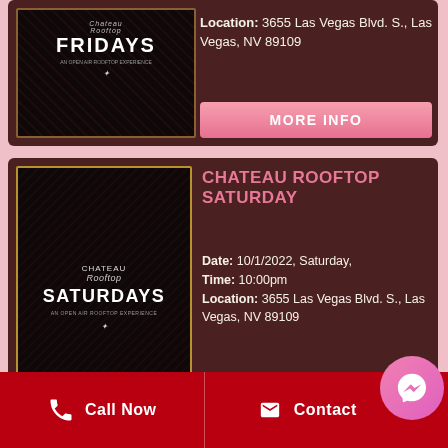[Figure (photo): Chateau Rooftop Fridays event promotional image with gold border on dark background]
Location: 3655 Las Vegas Blvd. S., Las Vegas, NV 89109
MORE INFO
[Figure (photo): Chateau Rooftop Saturdays event promotional image with gold border on dark background]
CHATEAU ROOFTOP SATURDAY
Date: 10/1/2022, Saturday, Time: 10:00pm Location: 3655 Las Vegas Blvd. S., Las Vegas, NV 89109
MORE INFO
Call Now   Contact